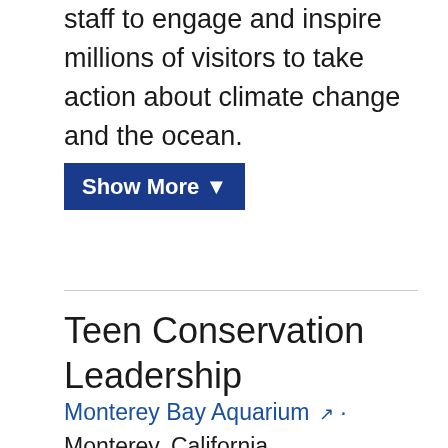staff to engage and inspire millions of visitors to take action about climate change and the ocean.
Show More ▼
Teen Conservation Leadership
Monterey Bay Aquarium · Monterey, California
Funding: $453,622
Year: 2010
Teen Conservation Leadership is a major integration and expansion of the Monterey Bay Aquarium's existing teen education...